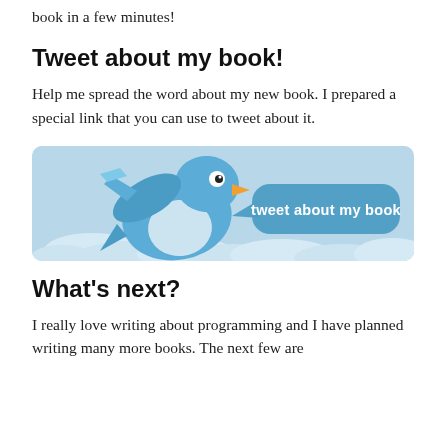book in a few minutes!
Tweet about my book!
Help me spread the word about my new book. I prepared a special link that you can use to tweet about it.
[Figure (illustration): A Twitter bird illustration on a light blue banner with a speech bubble saying 'tweet about my book']
What's next?
I really love writing about programming and I have planned writing many more books. The next few are